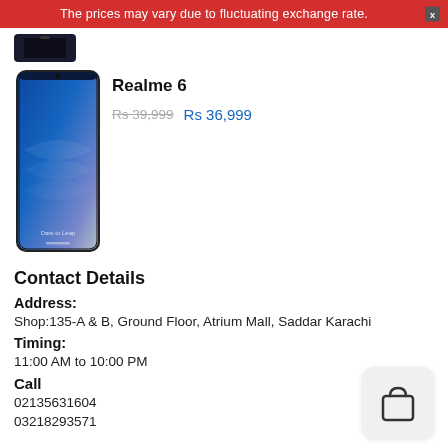The prices may vary due to fluctuating exchange rate.
[Figure (photo): Top portion of a black smartphone (partial view at top of page)]
Realme 6
Rs 39,999  Rs 36,999
[Figure (photo): Realme 6 smartphone showing blue gradient back and full-screen display with 'Dare to Leap' text]
Contact Details
Address:
Shop:135-A & B, Ground Floor, Atrium Mall, Saddar Karachi
Timing:
11:00 AM to 10:00 PM
Call
02135631604
03218293571
[Figure (illustration): Shopping bag icon in a rounded square box]